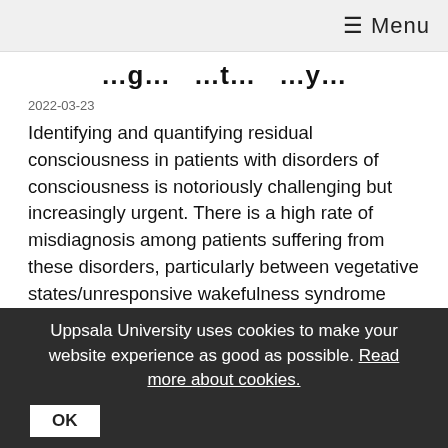≡ Menu
…g… …t… …y…
2022-03-23
Identifying and quantifying residual consciousness in patients with disorders of consciousness is notoriously challenging but increasingly urgent. There is a high rate of misdiagnosis among patients suffering from these disorders, particularly between vegetative states/unresponsive wakefulness syndrome and minimally conscious states. A recent BMC Medical Ethics publication explores how operational indicators previously introduced to assess consciousness in non-human animals and artificial intelligence can be relevant and have an ethical impact on the diagnosis and care of patients with disorders
Uppsala University uses cookies to make your website experience as good as possible. Read more about cookies. OK